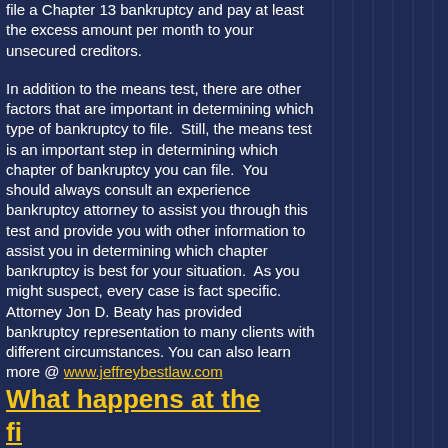file a Chapter 13 bankruptcy and pay at least the excess amount per month to your unsecured creditors.
In addition to the means test, there are other factors that are important in determining which type of bankruptcy to file. Still, the means test is an important step in determining which chapter of bankruptcy you can file. You should always consult an experience bankruptcy attorney to assist you through this test and provide you with other information to assist you in determining which chapter bankruptcy is best for your situation. As you might suspect, every case is fact specific. Attorney Jon D. Beaty has provided bankruptcy representation to many clients with different circumstances. You can also learn more @ www.jeffreybestlaw.com
What happens at the first meeting of...